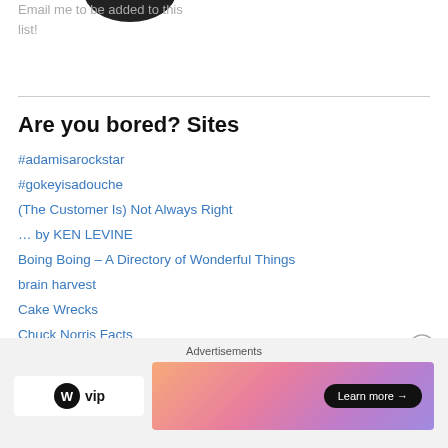[Figure (photo): Partial image of a circular black object at the top of the page]
Email me to be added to this list!
Are you bored? Sites
#adamisarockstar
#gokeyisadouche
(The Customer Is) Not Always Right
… by KEN LEVINE
Boing Boing – A Directory of Wonderful Things
brain harvest
Cake Wrecks
Chuck Norris Facts
Cluebert – Life's Most Useful Clues
[Figure (logo): WordPress VIP logo and advertisement banner with Learn more button]